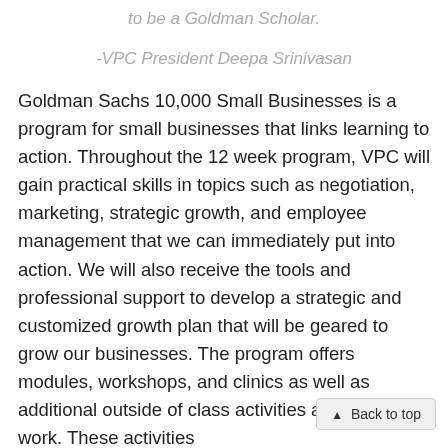to be a Goldman Scholar.
-VPC President Deepa Srinivasan
Goldman Sachs 10,000 Small Businesses is a program for small businesses that links learning to action. Throughout the 12 week program, VPC will gain practical skills in topics such as negotiation, marketing, strategic growth, and employee management that we can immediately put into action. We will also receive the tools and professional support to develop a strategic and customized growth plan that will be geared to grow our businesses. The program offers modules, workshops, and clinics as well as additional outside of class activities and bridge work. These activities